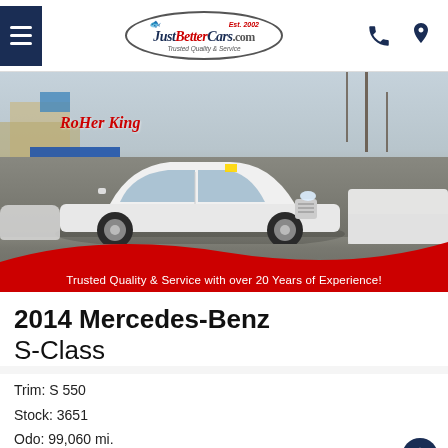JustBetterCars.com — Est. 2002 — Trusted Quality & Service
[Figure (photo): White 2014 Mercedes-Benz S-Class sedan parked in a dealership lot with other vehicles visible, with a red wave banner overlay reading 'Trusted Quality & Service with over 20 Years of Experience!']
2014 Mercedes-Benz S-Class
Trim: S 550
Stock: 3651
Odo: 99,060 mi.
VIN: WDDUG8CB9EA030999